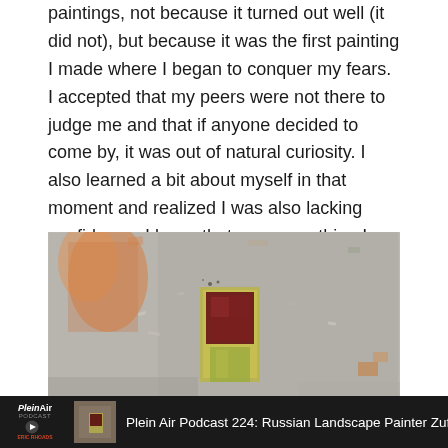paintings, not because it turned out well (it did not), but because it was the first painting I made where I began to conquer my fears. I accepted that my peers were not there to judge me and that if anyone decided to come by, it was out of natural curiosity. I also learned a bit about myself in that moment and realized I was also lacking confidence. I knew that was something I would only develop with time and lots of practice.
[Figure (photo): Close-up photograph of an oil painting showing a textured impasto surface with silvery-grey tones, featuring a small building or doorway structure with yellow-green and dark red/maroon colors in the center, painted in a loose plein air style.]
Plein Air Podcast 224: Russian Landscape Painter Zufar Bikbo